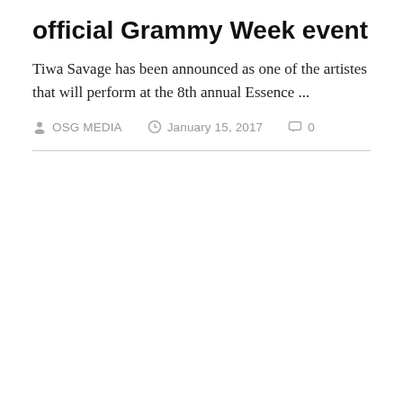official Grammy Week event
Tiwa Savage has been announced as one of the artistes that will perform at the 8th annual Essence ...
OSG MEDIA   January 15, 2017   0